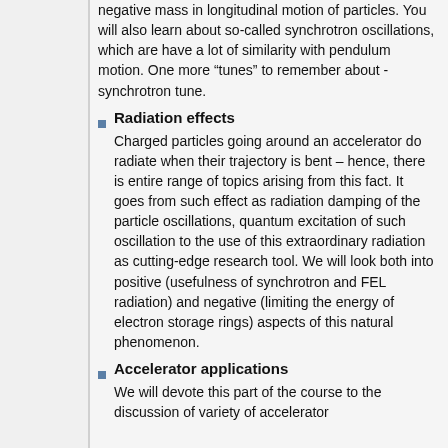negative mass in longitudinal motion of particles. You will also learn about so-called synchrotron oscillations, which are have a lot of similarity with pendulum motion. One more “tunes” to remember about - synchrotron tune.
Radiation effects
Charged particles going around an accelerator do radiate when their trajectory is bent – hence, there is entire range of topics arising from this fact. It goes from such effect as radiation damping of the particle oscillations, quantum excitation of such oscillation to the use of this extraordinary radiation as cutting-edge research tool. We will look both into positive (usefulness of synchrotron and FEL radiation) and negative (limiting the energy of electron storage rings) aspects of this natural phenomenon.
Accelerator applications
We will devote this part of the course to the discussion of variety of accelerator